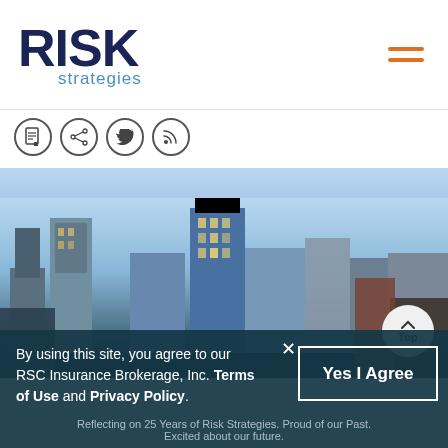[Figure (logo): Risk Strategies company logo with dark navy RISK text and blue 'strategies' subtitle]
[Figure (infographic): Social media icon buttons: document/PDF, share, Twitter, RSS feed]
[Figure (photo): City skyline photograph with tall office buildings against blue sky]
By using this site, you agree to our RSC Insurance Brokerage, Inc. Terms of Use and Privacy Policy.
Reflecting on 25 Years of Risk Strategies. Proud of our Past. Excited about our future.